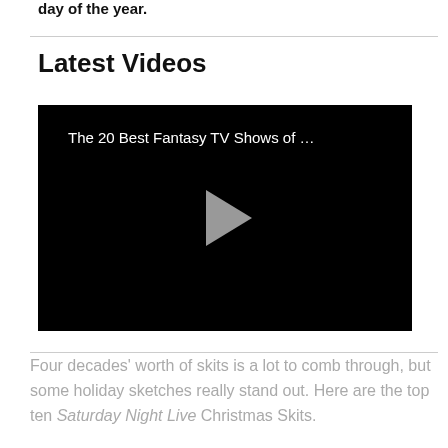day of the year.
Latest Videos
[Figure (screenshot): Video player with black background showing title 'The 20 Best Fantasy TV Shows of …' and a play button triangle in the center.]
Four decades' worth of skits is a lot to comb through, but some holiday sketches really stand out. Here are the top ten Saturday Night Live Christmas Skits.